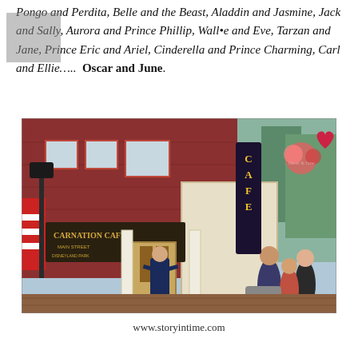Pongo and Perdita, Belle and the Beast, Aladdin and Jasmine, Jack and Sally, Aurora and Prince Phillip, Wall•e and Eve, Tarzan and Jane, Prince Eric and Ariel, Cinderella and Prince Charming, Carl and Ellie….. Oscar and June.
[Figure (photo): Photo of the Carnation Cafe at Disneyland. A man in a navy suit stands in the doorway of the Carnation Cafe on Main Street. The red brick building with red-trimmed windows is visible, along with a large illuminated Carnation Cafe sign. Crowds of visitors are seen in the background, and American flags hang to the left. A floral display and a heart logo decor are visible on the right side of the building.]
www.storyintime.com